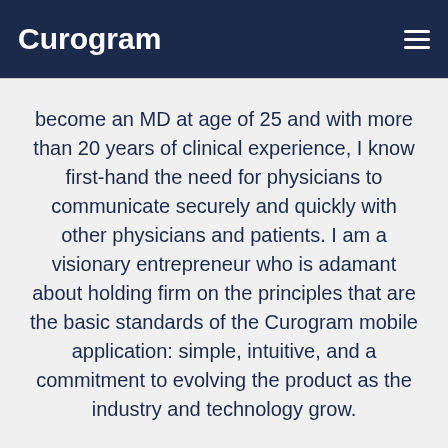Curogram
become an MD at age of 25 and with more than 20 years of clinical experience, I know first-hand the need for physicians to communicate securely and quickly with other physicians and patients. I am a visionary entrepreneur who is adamant about holding firm on the principles that are the basic standards of the Curogram mobile application: simple, intuitive, and a commitment to evolving the product as the industry and technology grow.